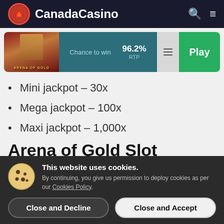CanadaCasino
[Figure (screenshot): Arena of Gold slot game card with 96.2% RTP and Play button]
Mini jackpot – 30x
Mega jackpot – 100x
Maxi jackpot – 1,000x
Arena of Gold Slot
This website uses cookies. By continuing, you give us permission to deploy cookies as per our Cookies Policy.